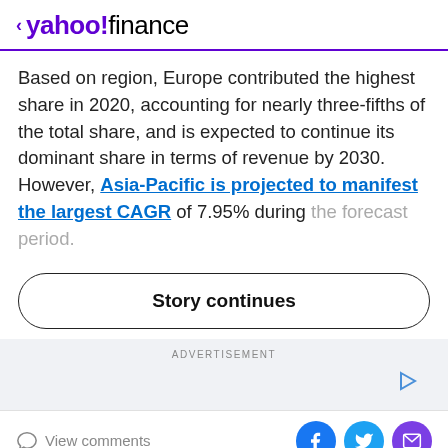< yahoo!finance
Based on region, Europe contributed the highest share in 2020, accounting for nearly three-fifths of the total share, and is expected to continue its dominant share in terms of revenue by 2030. However, Asia-Pacific is projected to manifest the largest CAGR of 7.95% during the forecast period.
Story continues
ADVERTISEMENT
View comments